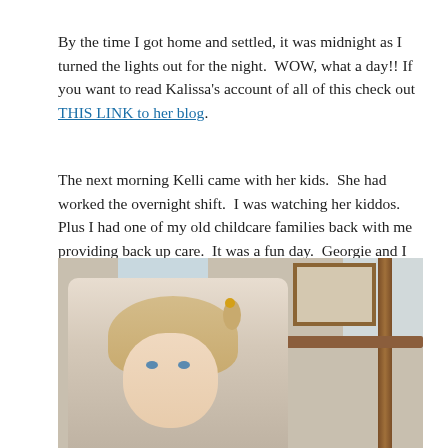By the time I got home and settled, it was midnight as I turned the lights out for the night.  WOW, what a day!! If you want to read Kalissa's account of all of this check out THIS LINK to her blog.
The next morning Kelli came with her kids.  She had worked the overnight shift.  I was watching her kiddos.  Plus I had one of my old childcare families back with me providing back up care.  It was a fun day.  Georgie and I made macoroni salad.
[Figure (photo): A young blonde girl with a small ponytail secured by a yellow hair tie, looking at the camera. The background shows a room interior with wood trim, a window letting in light, and a framed picture on the wall.]